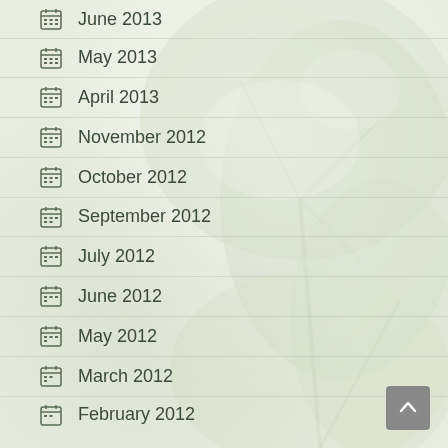June 2013
May 2013
April 2013
November 2012
October 2012
September 2012
July 2012
June 2012
May 2012
March 2012
February 2012